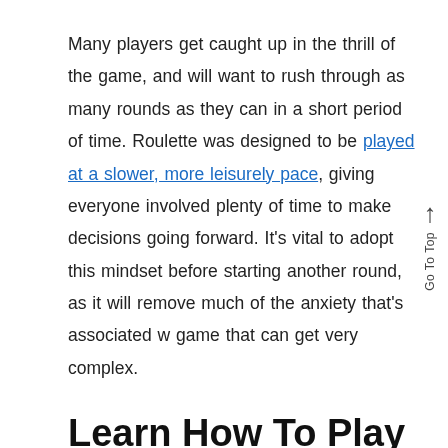Many players get caught up in the thrill of the game, and will want to rush through as many rounds as they can in a short period of time. Roulette was designed to be played at a slower, more leisurely pace, giving everyone involved plenty of time to make decisions going forward. It's vital to adopt this mindset before starting another round, as it will remove much of the anxiety that's associated w game that can get very complex.
Learn How To Play With Bankroll